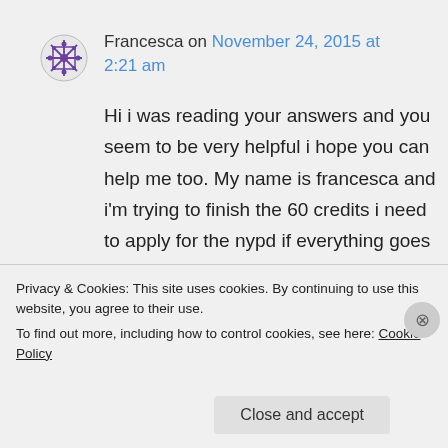Francesca on November 24, 2015 at 2:21 am
Hi i was reading your answers and you seem to be very helpful i hope you can help me too. My name is francesca and i'm trying to finish the 60 credits i need to apply for the nypd if everything goes well i'll be 34 and 10 months by the time i get
Privacy & Cookies: This site uses cookies. By continuing to use this website, you agree to their use.
To find out more, including how to control cookies, see here: Cookie Policy
Close and accept